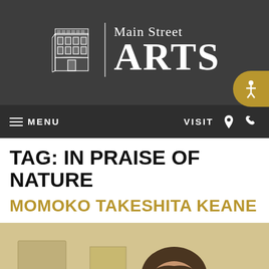[Figure (logo): Main Street ARTS logo with building illustration and text on dark gray background]
≡ MENU   VISIT
TAG: IN PRAISE OF NATURE
MOMOKO TAKESHITA KEANE
[Figure (photo): Portrait photo of a woman with round glasses and brown hair smiling, with artworks visible in background]